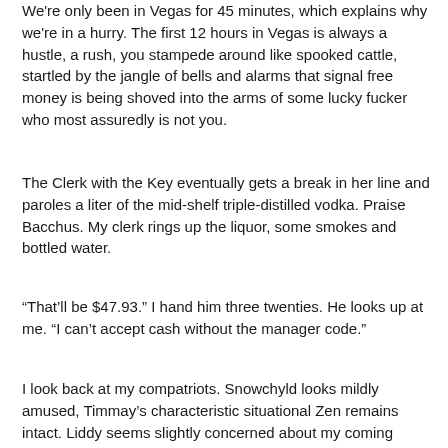We're only been in Vegas for 45 minutes, which explains why we're in a hurry. The first 12 hours in Vegas is always a hustle, a rush, you stampede around like spooked cattle, startled by the jangle of bells and alarms that signal free money is being shoved into the arms of some lucky fucker who most assuredly is not you.
The Clerk with the Key eventually gets a break in her line and paroles a liter of the mid-shelf triple-distilled vodka. Praise Bacchus. My clerk rings up the liquor, some smokes and bottled water.
“That’ll be $47.93.” I hand him three twenties. He looks up at me. “I can’t accept cash without the manager code.”
I look back at my compatriots. Snowchyld looks mildly amused, Timmay’s characteristic situational Zen remains intact. Liddy seems slightly concerned about my coming reaction and is probably trying to decide whether to stay and watch or exit before he becomes an accomplice.